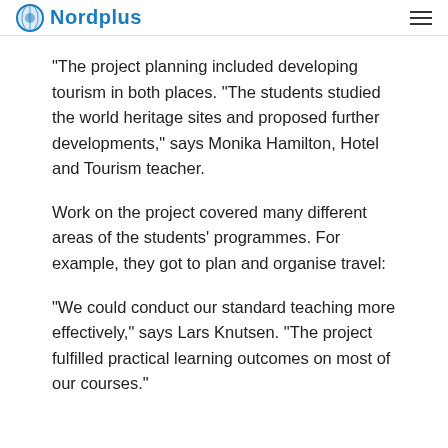Nordplus
“The project planning included developing tourism in both places. “The students studied the world heritage sites and proposed further developments,” says Monika Hamilton, Hotel and Tourism teacher.
Work on the project covered many different areas of the students’ programmes. For example, they got to plan and organise travel:
“We could conduct our standard teaching more effectively,” says Lars Knutsen. “The project fulfilled practical learning outcomes on most of our courses.”
Before and after the